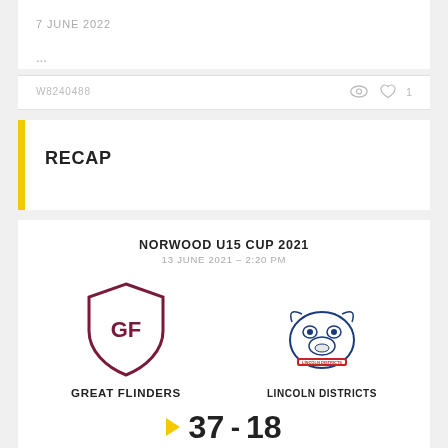7 JUNE 2022
...
W8240488
RECAP
NORWOOD U15 CUP 2021
13 JUNE 2021 – 2:20 PM
GREAT FLINDERS
LINCOLN DISTRICTS
37 - 18 FINAL SCORE